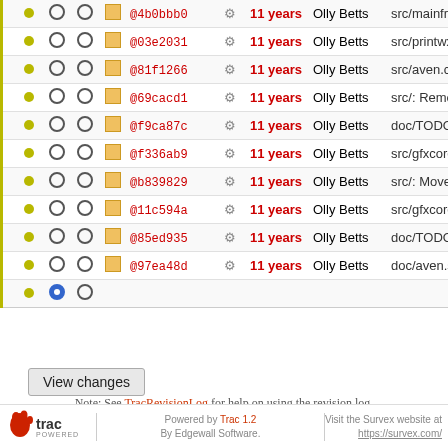|  |  |  |  | Rev |  | Age | Author | Log |
| --- | --- | --- | --- | --- | --- | --- | --- | --- |
| • | ○ | ○ | □ | @4b0bbb0 | ⚙ | 11 years | Olly Betts | src/mainfrm.h: We do |
| • | ○ | ○ | □ | @03e2031 | ⚙ | 11 years | Olly Betts | src/printwx.cc: "delet |
| • | ○ | ○ | □ | @81f1266 | ⚙ | 11 years | Olly Betts | src/aven.cc,src/gfxco |
| • | ○ | ○ | □ | @69cacd1 | ⚙ | 11 years | Olly Betts | src/: Remove empty c |
| • | ○ | ○ | □ | @f9ca87c | ⚙ | 11 years | Olly Betts | doc/TODO.htm,src/gl |
| • | ○ | ○ | □ | @f336ab9 | ⚙ | 11 years | Olly Betts | src/gfxcore.cc,src/gla |
| • | ○ | ○ | □ | @b839829 | ⚙ | 11 years | Olly Betts | src/: Move glTexCoor |
| • | ○ | ○ | □ | @11c594a | ⚙ | 11 years | Olly Betts | src/gfxcore.h,src/guic |
| • | ○ | ○ | □ | @85ed935 | ⚙ | 11 years | Olly Betts | doc/TODO.htm: Upda |
| • | ○ | ○ | □ | @97ea48d | ⚙ | 11 years | Olly Betts | doc/aven.sgml,lib/co |
| • | ● | ○ |  |  |  |  |  |  |
View changes
Note: See TracRevisionLog for help on using the revision log.
Download in other formats:
RSS Feed | ChangeLog
Powered by Trac 1.2 By Edgewall Software. | Visit the Survex website at https://survex.com/